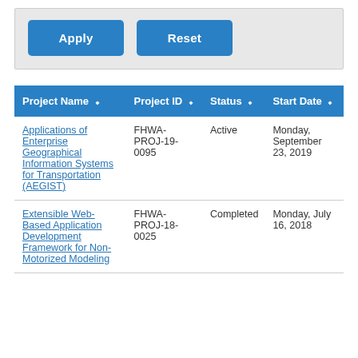[Figure (screenshot): Two blue buttons labeled Apply and Reset on a gray panel background]
| Project Name | Project ID | Status | Start Date |
| --- | --- | --- | --- |
| Applications of Enterprise Geographical Information Systems for Transportation (AEGIST) | FHWA-PROJ-19-0095 | Active | Monday, September 23, 2019 |
| Extensible Web-Based Application Development Framework for Non-Motorized Modeling | FHWA-PROJ-18-0025 | Completed | Monday, July 16, 2018 |